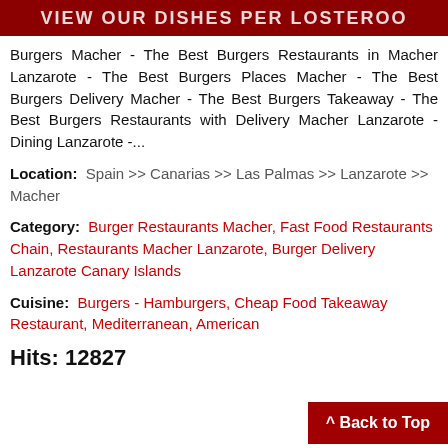[Figure (other): Red banner with white bold uppercase text: VIEW OUR DISHES PER LOSTEROO]
Burgers Macher - The Best Burgers Restaurants in Macher Lanzarote - The Best Burgers Places Macher - The Best Burgers Delivery Macher - The Best Burgers Takeaway - The Best Burgers Restaurants with Delivery Macher Lanzarote - Dining Lanzarote -...
Location: Spain >> Canarias >> Las Palmas >> Lanzarote >> Macher
Category: Burger Restaurants Macher, Fast Food Restaurants Chain, Restaurants Macher Lanzarote, Burger Delivery Lanzarote Canary Islands
Cuisine: Burgers - Hamburgers, Cheap Food Takeaway Restaurant, Mediterranean, American
Hits: 12827
^ Back to Top